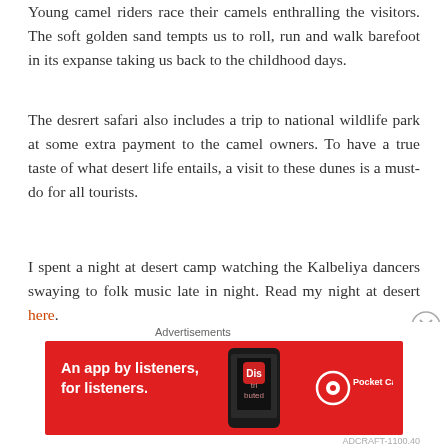Young camel riders race their camels enthralling the visitors. The soft golden sand tempts us to roll, run and walk barefoot in its expanse taking us back to the childhood days.
The desrert safari also includes a trip to national wildlife park at some extra payment to the camel owners. To have a true taste of what desert life entails, a visit to these dunes is a must-do for all tourists.
I spent a night at desert camp watching the Kalbeliya dancers swaying to folk music late in night. Read my night at desert here.
Khuri is another desert camp which is less crowded than
[Figure (other): Advertisement banner for Pocket Casts app: red background with white text 'An app by listeners, for listeners.' and Pocket Casts logo, with a phone image showing the app.]